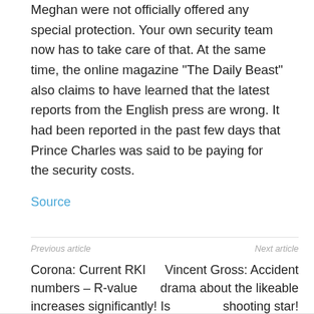Meghan were not officially offered any special protection. Your own security team now has to take care of that. At the same time, the online magazine "The Daily Beast" also claims to have learned that the latest reports from the English press are wrong. It had been reported in the past few days that Prince Charles was said to be paying for the security costs.
Source
Previous article
Next article
Corona: Current RKI numbers – R-value increases significantly! Is caution appropriate?
Vincent Gross: Accident drama about the likeable shooting star!